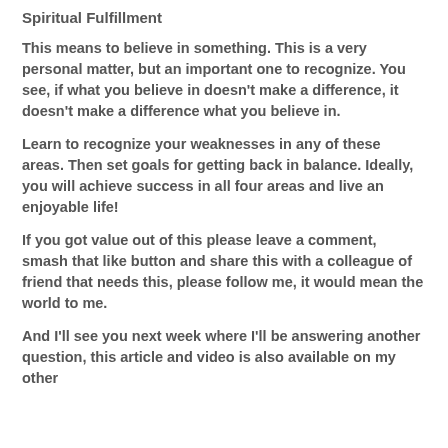Spiritual Fulfillment
This means to believe in something. This is a very personal matter, but an important one to recognize. You see, if what you believe in doesn't make a difference, it doesn't make a difference what you believe in.
Learn to recognize your weaknesses in any of these areas. Then set goals for getting back in balance. Ideally, you will achieve success in all four areas and live an enjoyable life!
If you got value out of this please leave a comment, smash that like button and share this with a colleague of friend that needs this, please follow me, it would mean the world to me.
And I'll see you next week where I'll be answering another question, this article and video is also available on my other